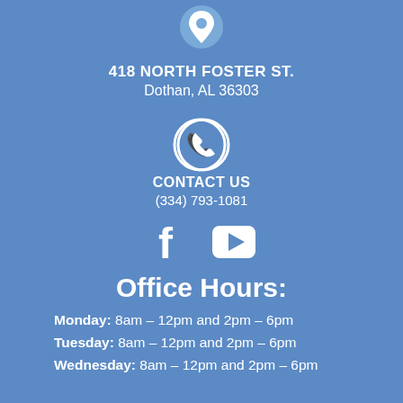[Figure (illustration): Location pin icon inside a filled circle, white on blue background]
418 NORTH FOSTER ST.
Dothan, AL 36303
[Figure (illustration): Phone/dial icon inside a white circle outline]
CONTACT US
(334) 793-1081
[Figure (illustration): Facebook icon (f) and YouTube play button icon, white on blue]
Office Hours:
Monday: 8am – 12pm and 2pm – 6pm
Tuesday: 8am – 12pm and 2pm – 6pm
Wednesday: 8am – 12pm and 2pm – 6pm